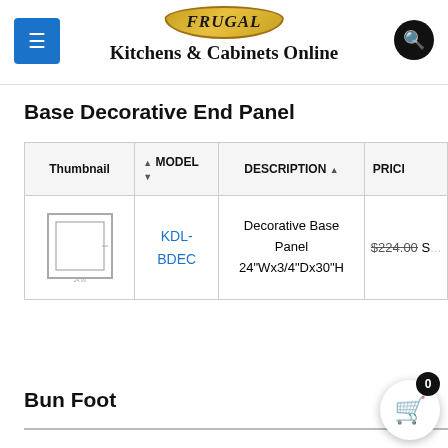[Figure (logo): Frugal Kitchens & Cabinets Online logo with golden badge and bold serif text]
Base Decorative End Panel
| Thumbnail | MODEL | DESCRIPTION | PRICE |
| --- | --- | --- | --- |
| [panel diagram] | KDL-BDEC | Decorative Base Panel 24"Wx3/4"Dx30"H | $224.00 S... |
Bun Foot